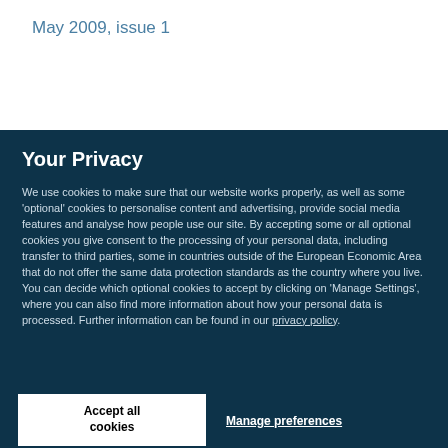May 2009, issue 1
Your Privacy
We use cookies to make sure that our website works properly, as well as some 'optional' cookies to personalise content and advertising, provide social media features and analyse how people use our site. By accepting some or all optional cookies you give consent to the processing of your personal data, including transfer to third parties, some in countries outside of the European Economic Area that do not offer the same data protection standards as the country where you live. You can decide which optional cookies to accept by clicking on 'Manage Settings', where you can also find more information about how your personal data is processed. Further information can be found in our privacy policy.
Accept all cookies
Manage preferences